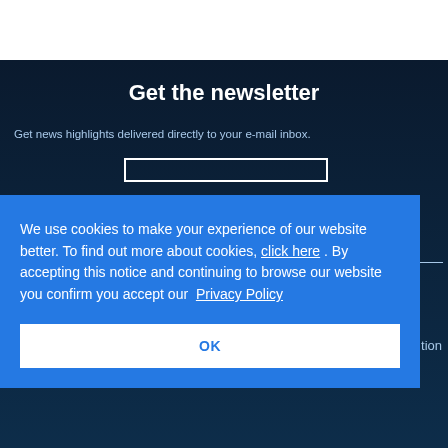Get the newsletter
Get news highlights delivered directly to your e-mail inbox.
We use cookies to make your experience of our website better. To find out more about cookies, click here . By accepting this notice and continuing to browse our website you confirm you accept our Privacy Policy
OK